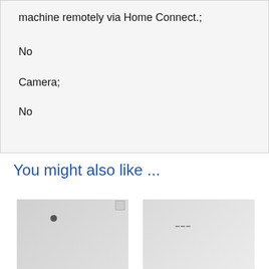machine remotely via Home Connect.;
No
Camera;
No
You might also like ...
[Figure (photo): Two washing machine product images side by side]
[Figure (photo): Second washing machine product image]